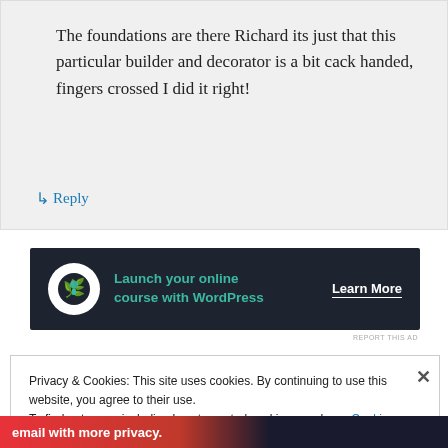The foundations are there Richard its just that this particular builder and decorator is a bit cack handed, fingers crossed I did it right!
↳ Reply
[Figure (screenshot): Advertisement banner for launching online courses with WordPress. Dark background with teal text 'Launch your online course with WordPress' and white 'Learn More' button.]
REPORT THIS AD
Privacy & Cookies: This site uses cookies. By continuing to use this website, you agree to their use.
To find out more, including how to control cookies, see here: Cookie Policy
Close and accept
[Figure (screenshot): Bottom advertisement strip with text 'email with more privacy.' on red/dark background with a duck logo.]